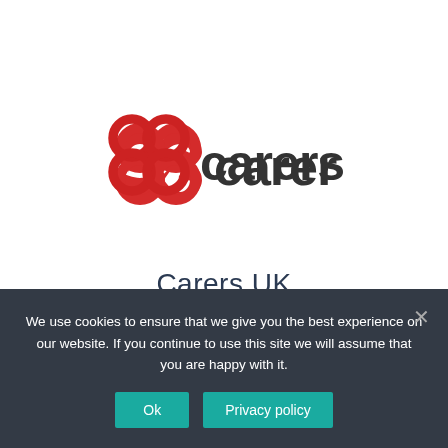[Figure (logo): Carers UK logo — red infinity/figure-8 symbol on left, bold dark grey text 'carers' followed by bold red text 'UK' on right]
Carers UK
We use cookies to ensure that we give you the best experience on our website. If you continue to use this site we will assume that you are happy with it.
Ok   Privacy policy